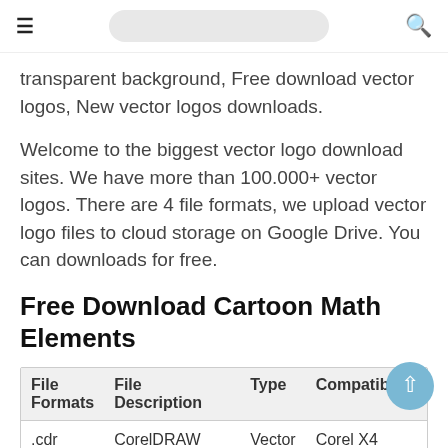[ hamburger menu ] [ search box ] [ search icon ]
transparent background, Free download vector logos, New vector logos downloads.
Welcome to the biggest vector logo download sites. We have more than 100.000+ vector logos. There are 4 file formats, we upload vector logo files to cloud storage on Google Drive. You can downloads for free.
Free Download Cartoon Math Elements
| File Formats | File Description | Type | Compatibility |
| --- | --- | --- | --- |
| .cdr | CorelDRAW | Vector | Corel X4 |
| .ai | Adobe Illustrator | Vector | Illustrator CS5 |
| .eps | Encapsulated | Vector | PostScript 3 |